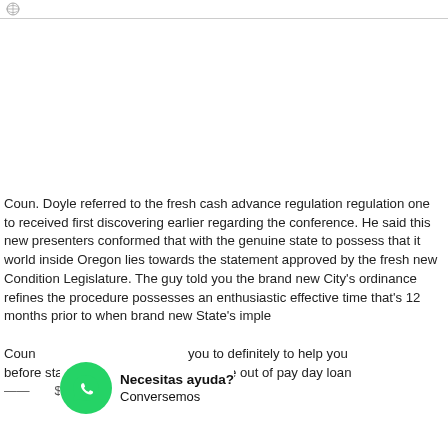Coun. Doyle referred to the fresh cash advance regulation regulation one to received first discovering earlier regarding the conference. He said this new presenters conformed that with the genuine state to possess that it world inside Oregon lies towards the statement approved by the fresh new Condition Legislature. The guy told you the brand new City's ordinance refines the procedure possesses an enthusiastic effective time that's 12 months prior to when brand new State's implementation. Coun. he said you to definitely to help you before statements your average income out of pay day loan
Necesitas ayuda? Conversemos